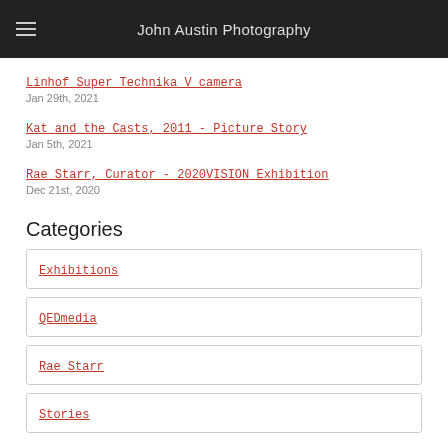John Austin Photography
Linhof Super Technika V camera
Jan 29th, 2021
Kat and the Casts, 2011 - Picture Story
Jan 5th, 2021
Rae Starr, Curator - 2020VISION Exhibition
Dec 21st, 2020
Categories
Exhibitions
QEDmedia
Rae Starr
Stories